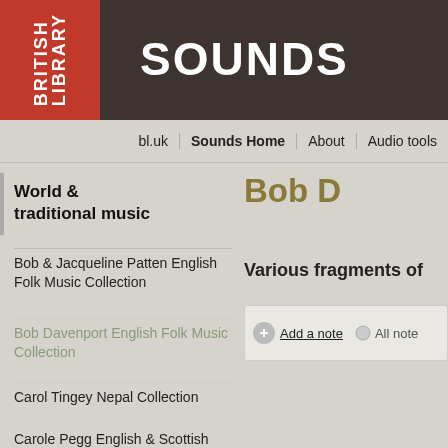BRITISH LIBRARY SOUNDS
bl.uk | Sounds Home | About | Audio tools
World & traditional music
Bob & Jacqueline Patten English Folk Music Collection
Bob Davenport English Folk Music Collection
Carol Tingey Nepal Collection
Carole Pegg English & Scottish Folk Music Collection
Bob D
Various fragments of
Add a note   All note